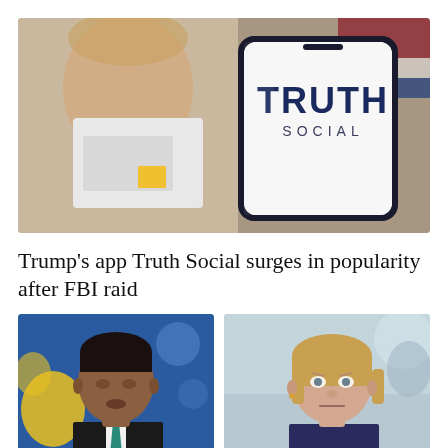[Figure (photo): Smartphone showing Truth Social app logo with TRUTH SOCIAL text in bold dark blue lettering, with a blurred image of Donald Trump in the background]
Trump’s app Truth Social surges in popularity after FBI raid
[Figure (photo): Portrait photo of Rishi Sunak speaking, wearing a dark suit with teal tie, blue and yellow backdrop]
[Figure (photo): Portrait photo of Liz Truss with blonde bob haircut, wearing a dark floral top, looking serious]